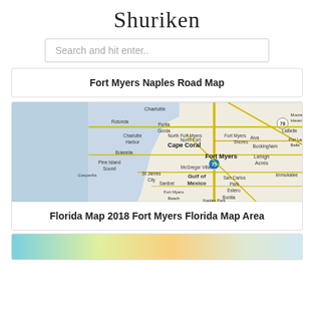Shuriken
Search and hit enter..
Fort Myers Naples Road Map
[Figure (map): Road map showing Fort Myers, Cape Coral, Naples area in Florida including Charlotte, Punta Gorda, Charlotte Harbor, Bokeelia, Pine Island Sound, Gasparilla, St James City, Sanibel, Fort Myers Beach, North Fort Myers, Fort Myers Shores, Alva, Buckingham, Lehigh Acres, McGregor Villas, San Carlos Park, Estero, Bonita Springs, Naples Park, Immokalee, LaBelle, Port La Belle, Moore Haven areas with road network and Gulf of Mexico]
Florida Map 2018 Fort Myers Florida Map Area
[Figure (map): Partial colorful map visible at bottom of page]